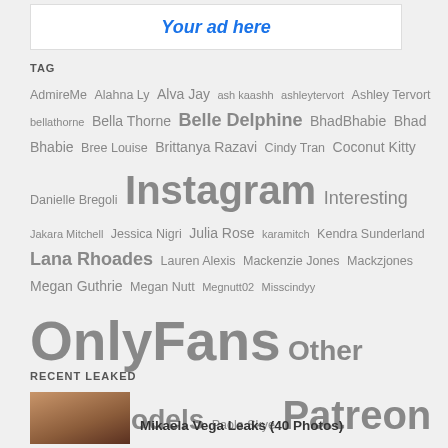[Figure (other): Ad placeholder box with 'Your ad here' text in blue italic]
TAG
AdmireMe Alahna Ly Alva Jay ash kaashh ashleytervort Ashley Tervort bellathorne Bella Thorne Belle Delphine BhadBhabie Bhad Bhabie Bree Louise Brittanya Razavi Cindy Tran Coconut Kitty Danielle Bregoli Instagram Interesting Jakara Mitchell Jessica Nigri Julia Rose karamitch Kendra Sunderland Lana Rhoades Lauren Alexis Mackenzie Jones Mackzjones Megan Guthrie Megan Nutt Megnutt02 Misscindyy OnlyFans Other Nude Models Paola Skye Patreon Porn pornstar Private Snapchat Swedish Bella TikTok Twitch Twitter Tyga Video Youtube
RECENT LEAKED
[Figure (photo): Thumbnail photo of a woman]
Mikaela Vega Leaks (40 Photos)